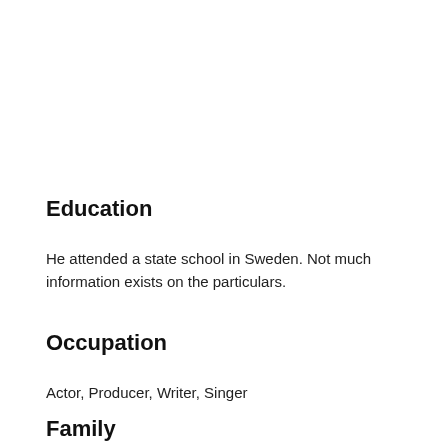Education
He attended a state school in Sweden. Not much information exists on the particulars.
Occupation
Actor, Producer, Writer, Singer
Family